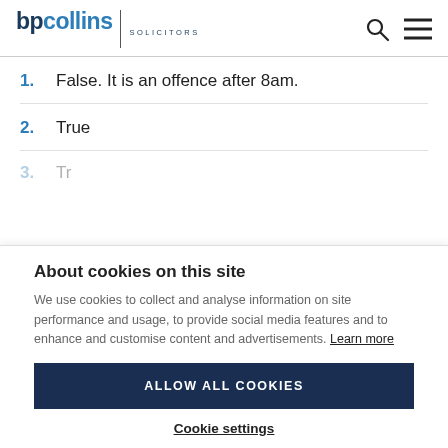bpcollins SOLICITORS
1. False. It is an offence after 8am.
2. True
3. Tr...
About cookies on this site
We use cookies to collect and analyse information on site performance and usage, to provide social media features and to enhance and customise content and advertisements. Learn more
ALLOW ALL COOKIES
Cookie settings